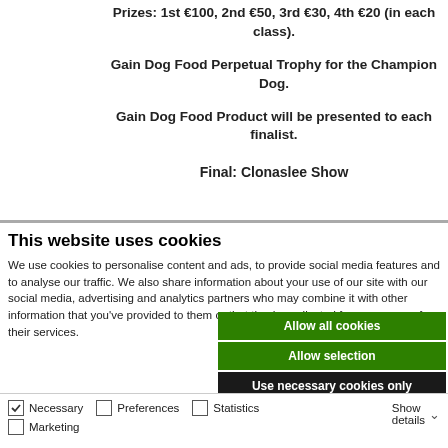Prizes: 1st €100, 2nd €50, 3rd €30, 4th €20 (in each class).
Gain Dog Food Perpetual Trophy for the Champion Dog.
Gain Dog Food Product will be presented to each finalist.
Final: Clonaslee Show
This website uses cookies
We use cookies to personalise content and ads, to provide social media features and to analyse our traffic. We also share information about your use of our site with our social media, advertising and analytics partners who may combine it with other information that you've provided to them or that they've collected from your use of their services.
Allow all cookies
Allow selection
Use necessary cookies only
Necessary   Preferences   Statistics   Marketing   Show details